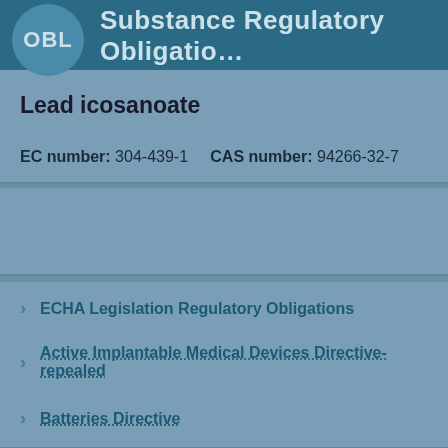OBL  Substance Regulatory Obligations
Lead icosanoate
EC number: 304-439-1   CAS number: 94266-32-7
ECHA Legislation Regulatory Obligations
Active Implantable Medical Devices Directive-repealed
Batteries Directive